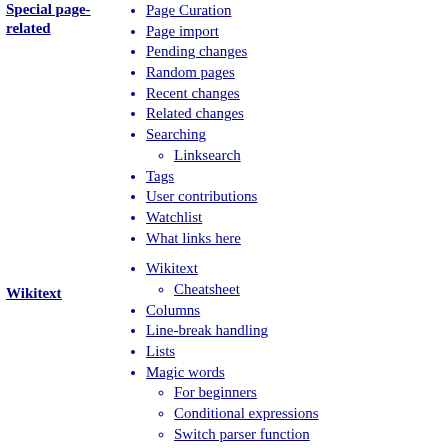Special page-related
Page Curation
Page import
Pending changes
Random pages
Recent changes
Related changes
Searching
Linksearch
Tags
User contributions
Watchlist
What links here
Wikitext
Cheatsheet
Columns
Line-break handling
Lists
Magic words
For beginners
Conditional expressions
Switch parser function
Time function
Redirects
Sections and TOCs
Wikitext